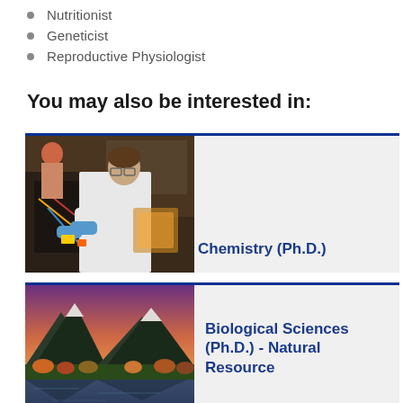Nutritionist
Geneticist
Reproductive Physiologist
You may also be interested in:
[Figure (photo): Researcher in white lab coat with blue gloves working with laboratory equipment; another person visible in background]
Chemistry (Ph.D.)
[Figure (photo): Scenic mountain landscape with lake at sunset/dusk, purple sky and colorful foliage]
Biological Sciences (Ph.D.) - Natural Resource Management